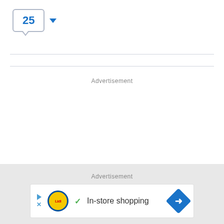[Figure (other): Speech bubble UI element showing the number 25 in blue, with a blue dropdown arrow to the right]
Advertisement
[Figure (other): Lidl advertisement banner showing: play/close icons, Lidl logo, green checkmark, 'In-store shopping' text, and a blue navigation diamond arrow icon]